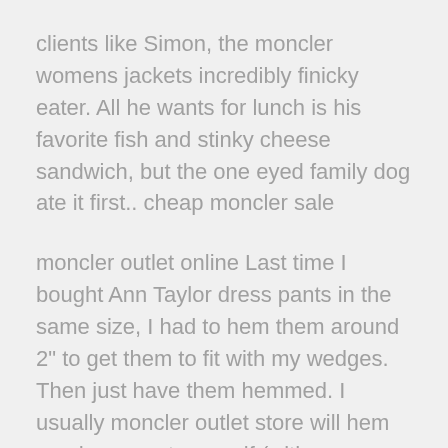clients like Simon, the moncler womens jackets incredibly finicky eater. All he wants for lunch is his favorite fish and stinky cheese sandwich, but the one eyed family dog ate it first.. cheap moncler sale
moncler outlet online Last time I bought Ann Taylor dress pants in the same size, I had to hem them around 2" to get them to fit with my wedges. Then just have them hemmed. I usually moncler outlet store will hem my dress pants myself (with an easy blind stitch), but moncler sale outlet I take jeans (where the stitching will show) to a tailor. moncler outlet online
moncler outlet store Suing Hisense is not the same as suing the Chinese Government though.That being said, I have no idea whether or discount moncler jackets not you